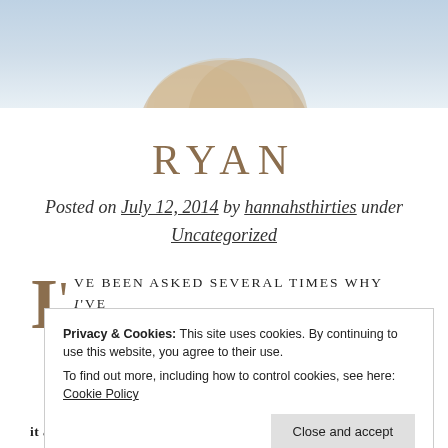[Figure (photo): Top banner showing a partial view of a person's head/hair against a light blue sky background]
RYAN
Posted on July 12, 2014 by hannahsthirties under Uncategorized
I'VE BEEN ASKED SEVERAL TIMES WHY I'VE
Privacy & Cookies: This site uses cookies. By continuing to use this website, you agree to their use. To find out more, including how to control cookies, see here: Cookie Policy
Close and accept
it all began (WARNING: I could get mushy) :